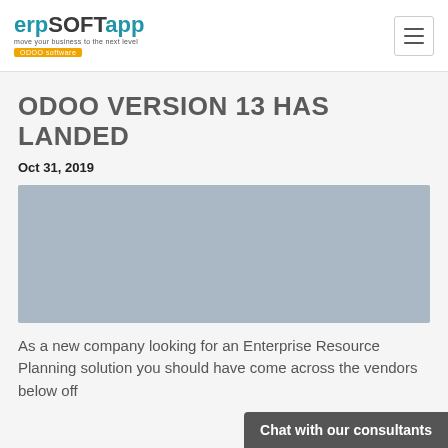erpSOFTapp — move your business to the next level — ODOO software
ODOO VERSION 13 HAS LANDED
Oct 31, 2019
[Figure (photo): Hero image placeholder — grey rectangle]
As a new company looking for an Enterprise Resource Planning solution you should have come across the vendors below off…
Chat with our consultants